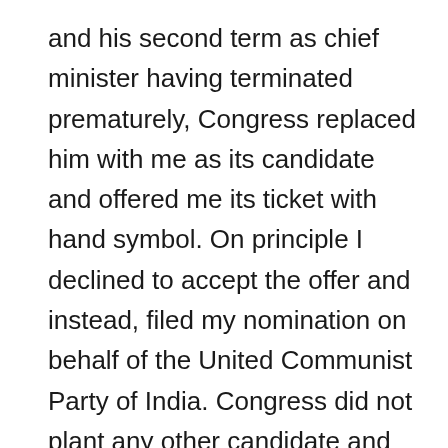and his second term as chief minister having terminated prematurely, Congress replaced him with me as its candidate and offered me its ticket with hand symbol. On principle I declined to accept the offer and instead, filed my nomination on behalf of the United Communist Party of India. Congress did not plant any other candidate and supported me officially. Excepting the voters who were politically conscious and had understood the significance of Congress alliance with the UCPI, the general electorate refused to support me, even though individually all of them were my admirers, such was the aversion of people towards the Congress by then.